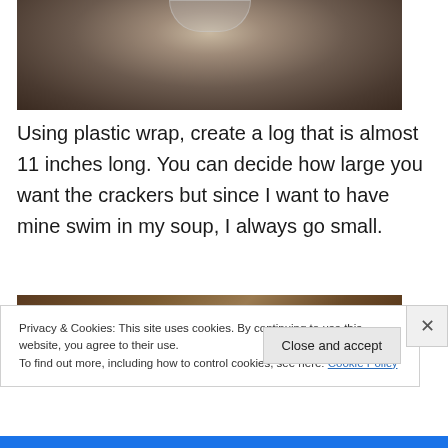[Figure (photo): Top-down view of a glass bowl with food on a dark textured surface, fingers visible at top]
Using plastic wrap, create a log that is almost 11 inches long. You can decide how large you want the crackers but since I want to have mine swim in my soup, I always go small.
[Figure (photo): Photo of dough log wrapped in plastic wrap on a dark marble surface with a cracker visible at right]
Privacy & Cookies: This site uses cookies. By continuing to use this website, you agree to their use.
To find out more, including how to control cookies, see here: Cookie Policy
Close and accept